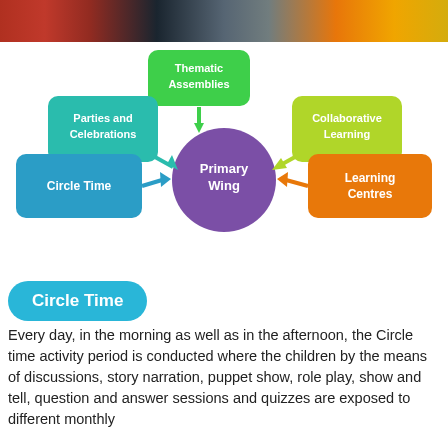[Figure (photo): Top strip showing colorful classroom/celebration photo]
[Figure (flowchart): Mind-map diagram showing Primary Wing at center connected to: Thematic Assemblies (top, green), Parties and Celebrations (upper-left, teal), Collaborative Learning (upper-right, lime), Circle Time (left, blue), Learning Centres (right, orange)]
Circle Time
Every day, in the morning as well as in the afternoon, the Circle time activity period is conducted where the children by the means of discussions, story narration, puppet show, role play, show and tell, question and answer sessions and quizzes are exposed to different monthly